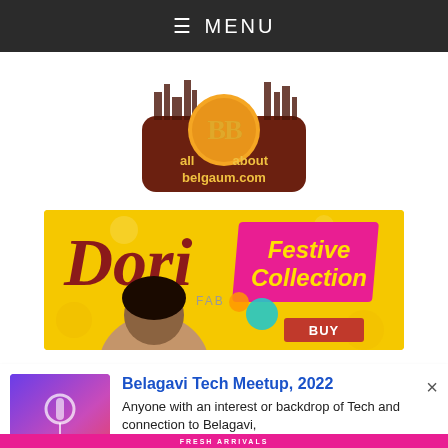≡ MENU
[Figure (logo): All About Belgaum logo — circular orange/gold emblem with stylized 'BB' letters, brown rounded rectangle background with text 'all about belgaum.com', cityscape silhouette above]
[Figure (photo): Dori FAB advertisement banner — yellow background, 'Dori' in dark red italic script, 'FAB' text, pink 'Festive Collection' banner on the right, woman's face partially visible at bottom]
Belagavi Tech Meetup, 2022
Anyone with an interest or backdrop of Tech and connection to Belagavi,
UXgrowth